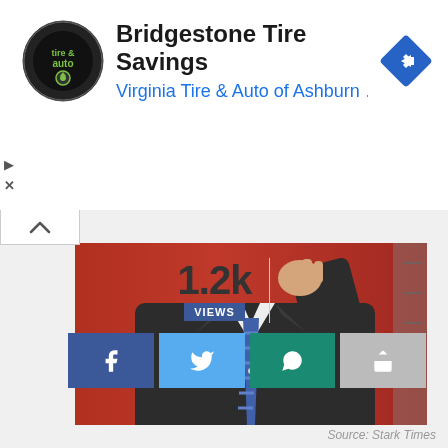[Figure (screenshot): Advertisement banner for Bridgestone Tire Savings by Virginia Tire & Auto of Ashburn. Shows tire & auto circular logo, navigation icon, play/close controls, and a blue diamond-shaped arrow icon.]
[Figure (photo): Video thumbnail showing a man in a dark suit and blue striped tie with hand raised, against a red background. Source: Stark Times.]
Source: Stark Times
1.2k VIEWS
[Figure (screenshot): Social share buttons row: Facebook (dark blue), Twitter (light blue), WhatsApp (teal/green), Share (gray).]